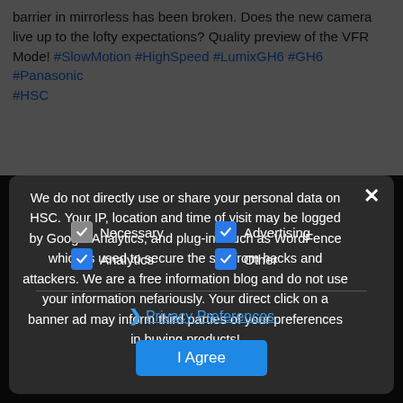barrier in mirrorless has been broken. Does the new camera live up to the lofty expectations? Quality preview of the VFR Mode! #SlowMotion #HighSpeed #LumixGH6 #GH6 #Panasonic #HSC
We do not directly use or share your personal data on HSC. Your IP, location and time of visit may be logged by Google Analytics, and plug-ins such as WordFence which is used to secure the site from hacks and attackers. We are a free information blog and do not use your information nefariously. Your direct click on a banner ad may inform third parties of your preferences in buying products!
Necessary | Advertising | Analytics | Other (checkboxes)
› Privacy Preferences
I Agree